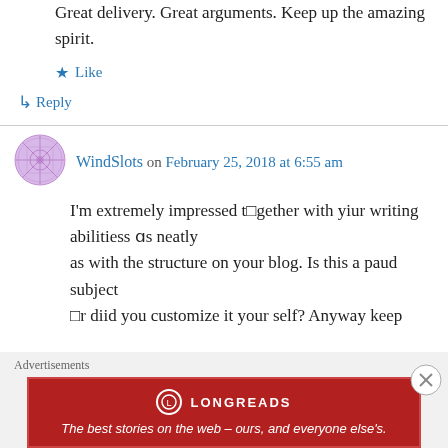Great delivery. Great arguments. Keep up the amazing spirit.
★ Like
↳ Reply
WindSlots on February 25, 2018 at 6:55 am
I'm extremely impressed together with yiur writing abilitiess as neatly as with the structure on your blog. Is this a paud subject
□r diid you customize it your self? Anyway keep
Advertisements
[Figure (other): Longreads advertisement banner: red background with Longreads logo and tagline 'The best stories on the web – ours, and everyone else's.']